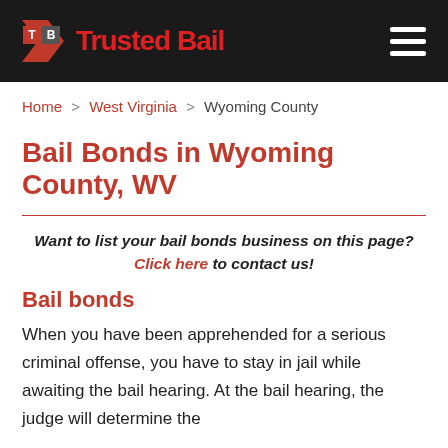Trusted Bail
Home > West Virginia > Wyoming County
Bail Bonds in Wyoming County, WV
Want to list your bail bonds business on this page? Click here to contact us!
Bail bonds
When you have been apprehended for a serious criminal offense, you have to stay in jail while awaiting the bail hearing. At the bail hearing, the judge will determine the